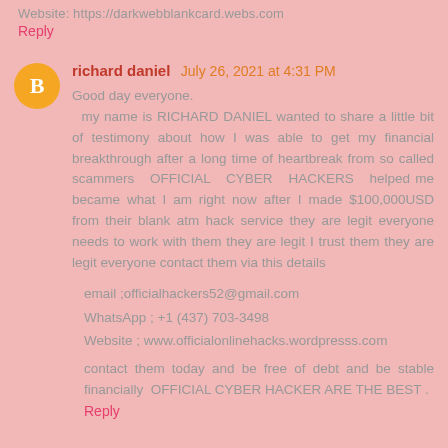Website: https://darkwebblankcard.webs.com
Reply
richard daniel  July 26, 2021 at 4:31 PM
Good day everyone.
  my name is RICHARD DANIEL wanted to share a little bit of testimony about how I was able to get my financial breakthrough after a long time of heartbreak from so called scammers  OFFICIAL  CYBER  HACKERS  helped me became what I am right now after I made $100,000USD from their blank atm hack service they are legit everyone needs to work with them they are legit I trust them they are legit everyone contact them via this details
email ;officialhackers52@gmail.com
WhatsApp ; +1 (437) 703-3498
Website ; www.officialonlinehacks.wordpresss.com
contact them today and be free of debt and be stable financially  OFFICIAL CYBER HACKER ARE THE BEST .
Reply